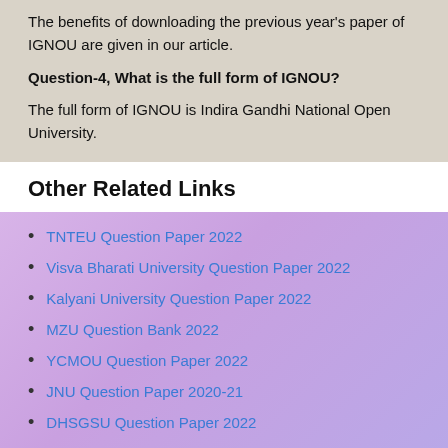The benefits of downloading the previous year's paper of IGNOU are given in our article.
Question-4, What is the full form of IGNOU?
The full form of IGNOU is Indira Gandhi National Open University.
Other Related Links
TNTEU Question Paper 2022
Visva Bharati University Question Paper 2022
Kalyani University Question Paper 2022
MZU Question Bank 2022
YCMOU Question Paper 2022
JNU Question Paper 2020-21
DHSGSU Question Paper 2022
Tripura University Question Papers 2022
GNDU Question Paper 2022